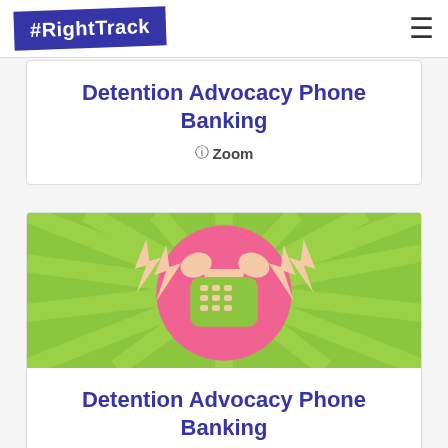#RightTrack
Detention Advocacy Phone Banking
Zoom
[Figure (illustration): Illustration of a pink retro telephone with lightning bolts on a lime green radial background]
Detention Advocacy Phone Banking
Zoom